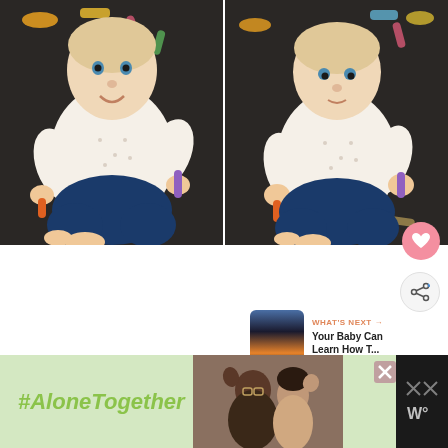[Figure (photo): Two side-by-side photos of a baby/toddler sitting on a dark carpet, wearing a white long-sleeve shirt with small prints and dark blue pants, holding crayons, with colorful toys scattered around. Left photo shows baby smiling and looking up; right photo shows baby looking down at crayons.]
[Figure (screenshot): UI elements: a pink heart/favorite button and a grey share button on the right side; a 'WHAT'S NEXT →' panel with a sunset thumbnail and truncated text 'Your Baby Can Learn How T...']
[Figure (photo): Bottom row showing partial photos, one with teal/blue tones and one with warm tones.]
[Figure (infographic): Ad banner at bottom with '#AloneTogether' text in italic green on light green background, a photo of a father and daughter waving, a close/X button, and a dark logo area with 'W°' branding on the right.]